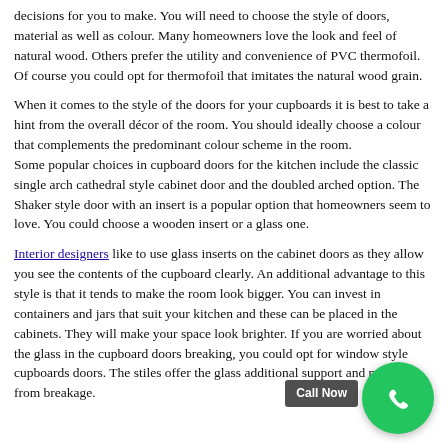decisions for you to make. You will need to choose the style of doors, material as well as colour. Many homeowners love the look and feel of natural wood. Others prefer the utility and convenience of PVC thermofoil. Of course you could opt for thermofoil that imitates the natural wood grain.
When it comes to the style of the doors for your cupboards it is best to take a hint from the overall décor of the room. You should ideally choose a colour that complements the predominant colour scheme in the room.
Some popular choices in cupboard doors for the kitchen include the classic single arch cathedral style cabinet door and the doubled arched option. The Shaker style door with an insert is a popular option that homeowners seem to love. You could choose a wooden insert or a glass one.
Interior designers like to use glass inserts on the cabinet doors as they allow you see the contents of the cupboard clearly. An additional advantage to this style is that it tends to make the room look bigger. You can invest in containers and jars that suit your kitchen and these can be placed in the cabinets. They will make your space look brighter. If you are worried about the glass in the cupboard doors breaking, you could opt for window style cupboards doors. The stiles offer the glass additional support and protect it from breakage.